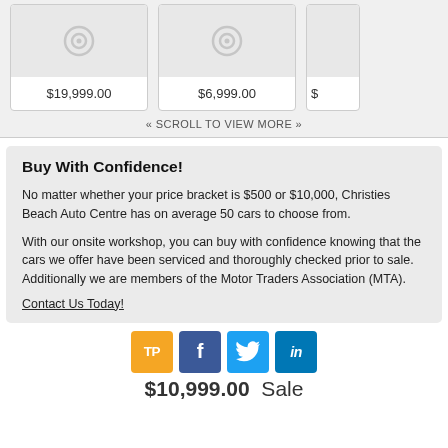[Figure (screenshot): Three car listing cards with placeholder images showing prices $19,999.00, $6,999.00, and a partially visible third card with $]
« SCROLL TO VIEW MORE »
Buy With Confidence!
No matter whether your price bracket is $500 or $10,000, Christies Beach Auto Centre has on average 50 cars to choose from.
With our onsite workshop, you can buy with confidence knowing that the cars we offer have been serviced and thoroughly checked prior to sale. Additionally we are members of the Motor Traders Association (MTA).
Contact Us Today!
[Figure (infographic): Social media share buttons: TP (Trade Me?), Facebook f, Twitter bird, LinkedIn in]
$10,999.00  Sale